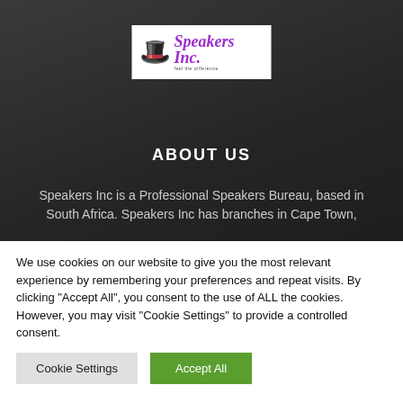[Figure (logo): Speakers Inc logo with top hat graphic and purple italic text reading 'Speakers Inc.' with tagline 'feel the difference' on white background]
ABOUT US
Speakers Inc is a Professional Speakers Bureau, based in South Africa. Speakers Inc has branches in Cape Town,
We use cookies on our website to give you the most relevant experience by remembering your preferences and repeat visits. By clicking "Accept All", you consent to the use of ALL the cookies. However, you may visit "Cookie Settings" to provide a controlled consent.